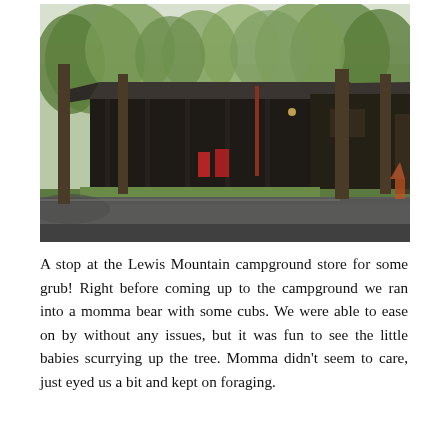[Figure (photo): A photograph of the Lewis Mountain campground store, a dark wooden cabin-style building with a covered porch area, surrounded by green trees. A paved road curves through the foreground.]
A stop at the Lewis Mountain campground store for some grub! Right before coming up to the campground we ran into a momma bear with some cubs. We were able to ease on by without any issues, but it was fun to see the little babies scurrying up the tree. Momma didn't seem to care, just eyed us a bit and kept on foraging.